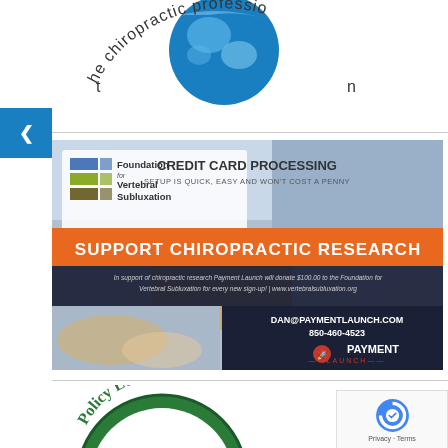[Figure (logo): Globe logo with text 'the chiropractic profession' curved around it]
[Figure (illustration): Blue navigation arrow pointing left on blue background]
[Figure (infographic): Advertisement for Payment Launch credit card processing supporting chiropractic research through Foundation for Vertebral Subluxation. Text: CREDIT CARD PROCESSING, SETUP IS QUICK, EASY AND WON'T COST A PENNY, SUPPORT CHIROPRACTIC RESEARCH, In support of chiropractic research Payment Launch will donate $100.00 to the Foundation for Vertebral Subluxation for every new sign-up! | www.vertebralsubluxation.org, DAN@PAYMENTLAUNCH.COM, 850-460-4523, PAYMENT LAUNCH]
[Figure (logo): Circular green logo with text 'Policy Educati...' (Policy Education, partially visible)]